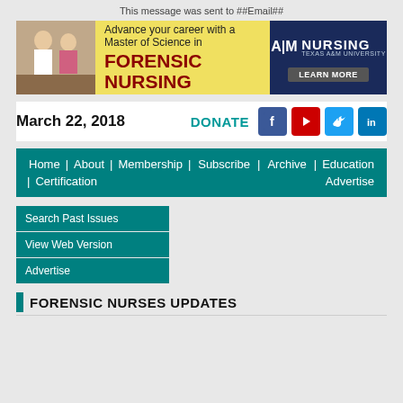This message was sent to ##Email##
[Figure (infographic): Texas A&M University Nursing banner ad for Master of Science in Forensic Nursing program with photo of two people and a Learn More button]
March 22, 2018
DONATE
[Figure (infographic): Social media icons: Facebook, YouTube, Twitter, LinkedIn]
Home | About | Membership | Subscribe | Archive | Education | Certification | Advertise
Search Past Issues
View Web Version
Advertise
FORENSIC NURSES UPDATES